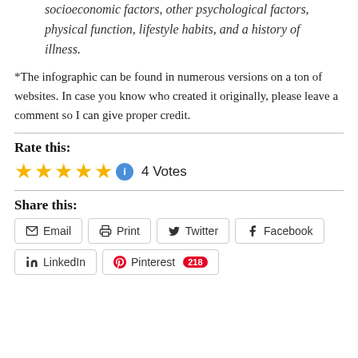socioeconomic factors, other psychological factors, physical function, lifestyle habits, and a history of illness.
*The infographic can be found in numerous versions on a ton of websites. In case you know who created it originally, please leave a comment so I can give proper credit.
Rate this:
[Figure (infographic): Five gold stars rating with info icon and '4 Votes' text]
Share this:
Email  Print  Twitter  Facebook  LinkedIn  Pinterest 218